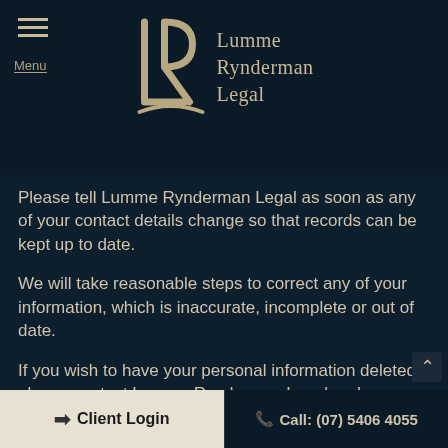Lumme Rynderman Legal — logo and menu
Please tell Lumme Rynderman Legal as soon as any of your contact details change so that records can be kept up to date.
We will take reasonable steps to correct any of your information, which is inaccurate, incomplete or out of date.
If you wish to have your personal information deleted, please contact Lumme Rynderman Legal and wherever practicable that information will be deleted.
A request to access, amend or delete your personal information may be refused in certain circumstances. If refused, you will be provided with a reason for the decision
➔ Client Login | Call: (07) 5406 4055